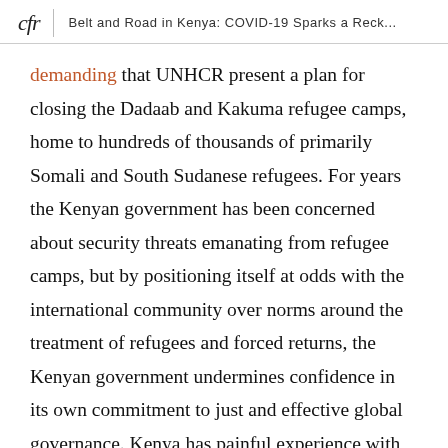cfr | Belt and Road in Kenya: COVID-19 Sparks a Reck...
demanding that UNHCR present a plan for closing the Dadaab and Kakuma refugee camps, home to hundreds of thousands of primarily Somali and South Sudanese refugees. For years the Kenyan government has been concerned about security threats emanating from refugee camps, but by positioning itself at odds with the international community over norms around the treatment of refugees and forced returns, the Kenyan government undermines confidence in its own commitment to just and effective global governance. Kenya has painful experience with very real security threats, but lasting peace can be won only by driving an